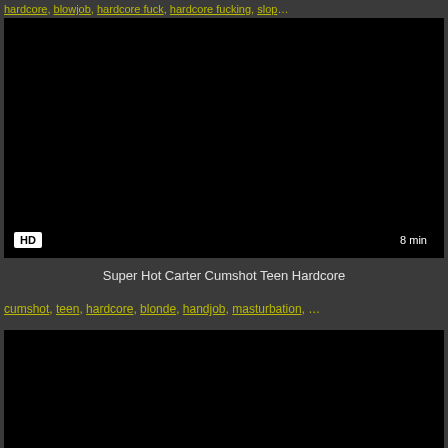hardcore, blowjob, hardcore fuck, hardcore fucking, slop...
[Figure (screenshot): Black video thumbnail with HD badge and 8 min duration label]
Super Hot Carter Cumshot Teen Hardcore
cumshot, teen, hardcore, blonde, handjob, masturbation, ...
[Figure (screenshot): Black video thumbnail]